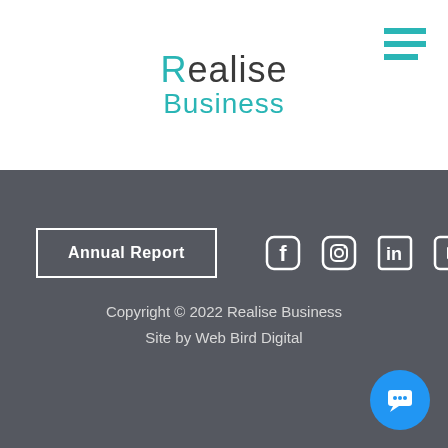[Figure (logo): Realise Business logo with teal and dark text]
Annual Report
[Figure (infographic): Social media icons: Facebook, Instagram, LinkedIn, YouTube]
Copyright © 2022 Realise Business
Site by Web Bird Digital
[Figure (illustration): Blue circular chat/message button]